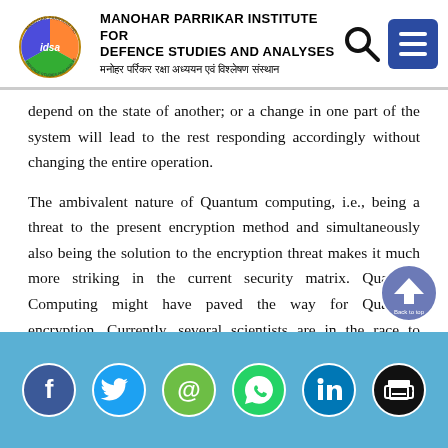MANOHAR PARRIKAR INSTITUTE FOR DEFENCE STUDIES AND ANALYSES
depend on the state of another; or a change in one part of the system will lead to the rest responding accordingly without changing the entire operation.
The ambivalent nature of Quantum computing, i.e., being a threat to the present encryption method and simultaneously also being the solution to the encryption threat makes it much more striking in the current security matrix. Quantum Computing might have paved the way for Quantum encryption. Currently, several scientists are in the race to deploy foolproof quantum encryption before anyone develops a
Social media share icons: Facebook, Twitter, Email, WhatsApp, LinkedIn, Print